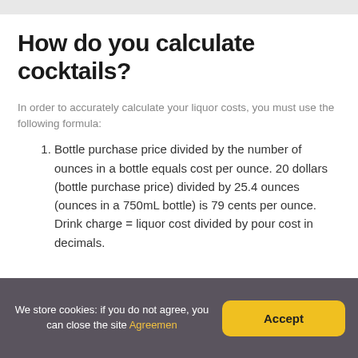How do you calculate cocktails?
In order to accurately calculate your liquor costs, you must use the following formula:
Bottle purchase price divided by the number of ounces in a bottle equals cost per ounce. 20 dollars (bottle purchase price) divided by 25.4 ounces (ounces in a 750mL bottle) is 79 cents per ounce. Drink charge = liquor cost divided by pour cost in decimals.
We store cookies: if you do not agree, you can close the site Agreement  Accept